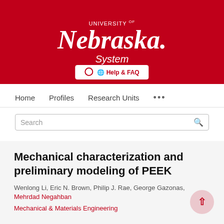[Figure (logo): University of Nebraska System logo in white on red background]
Help & FAQ
Home   Profiles   Research Units   ...
Search
Mechanical characterization and preliminary modeling of PEEK
Wenlong Li, Eric N. Brown, Philip J. Rae, George Gazonas, Mehrdad Negahban
Mechanical & Materials Engineering